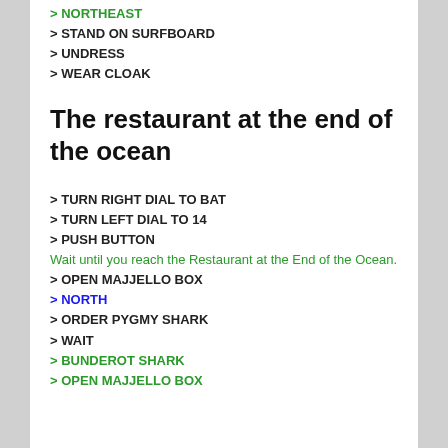> NORTHEAST
> STAND ON SURFBOARD
> UNDRESS
> WEAR CLOAK
The restaurant at the end of the ocean
> TURN RIGHT DIAL TO BAT
> TURN LEFT DIAL TO 14
> PUSH BUTTON
Wait until you reach the Restaurant at the End of the Ocean.
> OPEN MAJJELLO BOX
> NORTH
> ORDER PYGMY SHARK
> WAIT
> BUNDEROT SHARK
> OPEN MAJJELLO BOX